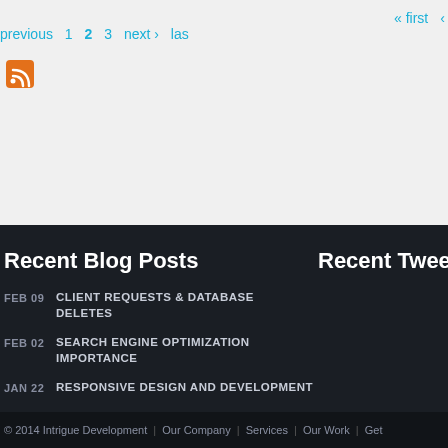« first ‹ previous 1 2 3 next › las
[Figure (logo): RSS feed icon, orange square with white RSS symbol]
Recent Blog Posts
Recent Tweets
FEB 09 CLIENT REQUESTS & DATABASE DELETES
FEB 02 SEARCH ENGINE OPTIMIZATION IMPORTANCE
JAN 22 RESPONSIVE DESIGN AND DEVELOPMENT
© 2014 Intrigue Development | Our Company | Services | Our Work | Get